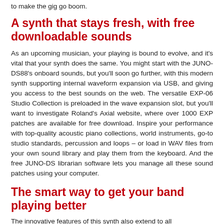to make the gig go boom.
A synth that stays fresh, with free downloadable sounds
As an upcoming musician, your playing is bound to evolve, and it's vital that your synth does the same. You might start with the JUNO-DS88's onboard sounds, but you'll soon go further, with this modern synth supporting internal waveform expansion via USB, and giving you access to the best sounds on the web. The versatile EXP-06 Studio Collection is preloaded in the wave expansion slot, but you'll want to investigate Roland's Axial website, where over 1000 EXP patches are available for free download. Inspire your performance with top-quality acoustic piano collections, world instruments, go-to studio standards, percussion and loops – or load in WAV files from your own sound library and play them from the keyboard. And the free JUNO-DS librarian software lets you manage all these sound patches using your computer.
The smart way to get your band playing better
The innovative features of this synth also extend to all...